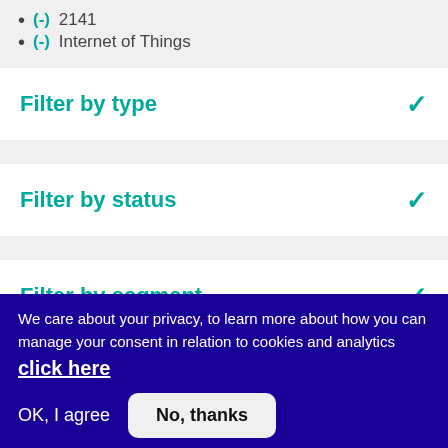(-) 2141
(-) Internet of Things
Filter by type
Filter by status
Filter by segment
We care about your privacy, to learn more about how you can manage your consent in relation to cookies and analytics click here
OK, I agree
No, thanks